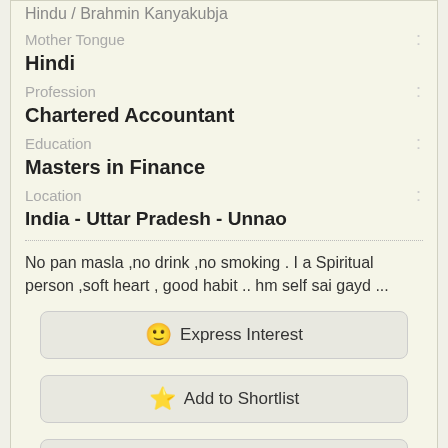Hindu / Brahmin Kanyakubja
Mother Tongue: Hindi
Profession: Chartered Accountant
Education: Masters in Finance
Location: India - Uttar Pradesh - Unnao
No pan masla ,no drink ,no smoking . I a Spiritual person ,soft heart , good habit .. hm self sai gayd ...
Express Interest
Add to Shortlist
View Full Profile